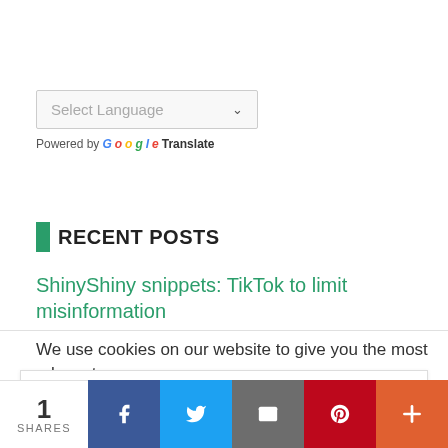[Figure (screenshot): Google Translate language selector widget with 'Select Language' dropdown and 'Powered by Google Translate' text]
RECENT POSTS
ShinyShiny snippets: TikTok to limit misinformation
We use cookies on our website to give you the most relevant
Privacy & Cookies: This site uses cookies. By continuing to use this website, you agree to their use. To find out more, including how to control cookies, see here: Cookie Policy
[Figure (infographic): Social share bar with 1 SHARES count, Facebook, Twitter, Email, Pinterest, and More buttons]